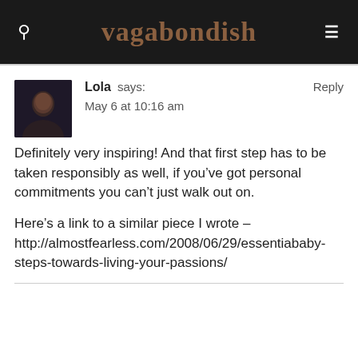vagabondish
Lola says:
May 6 at 10:16 am
Reply
Definitely very inspiring! And that first step has to be taken responsibly as well, if you’ve got personal commitments you can’t just walk out on.

Here’s a link to a similar piece I wrote – http://almostfearless.com/2008/06/29/essentiababy-steps-towards-living-your-passions/